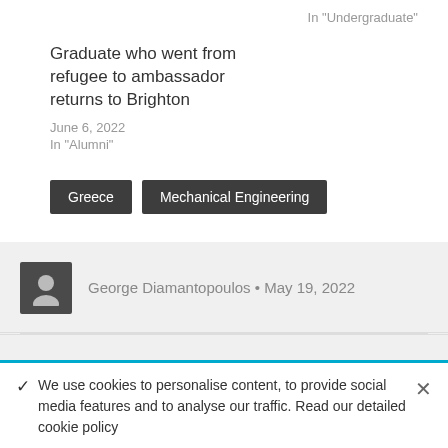In "Undergraduate"
Graduate who went from refugee to ambassador returns to Brighton
June 6, 2022
In "Alumni"
Greece
Mechanical Engineering
George Diamantopoulos • May 19, 2022
← Previous Post
A few things about what it's
Next Post →→
International Insight: One
✓ We use cookies to personalise content, to provide social media features and to analyse our traffic. Read our detailed cookie policy